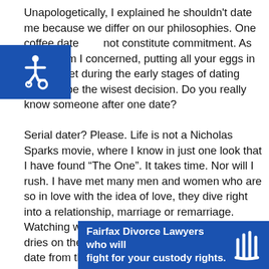Unapologetically, I explained he shouldn't date me because we differ on our philosophies. One coffee date does not constitute commitment. As far as I am I concerned, putting all your eggs in one basket during the early stages of dating may not be the wisest decision. Do you really know someone after one date?

Serial dater? Please. Life is not a Nicholas Sparks movie, where I know in just one look that I have found “The One”. It takes time. Nor will I rush. I have met many men and women who are so in love with the idea of love, they dive right into a relationship, marriage or remarriage. Watching women get engaged before the ink dries on their divorce decrees or discovering a date from three weeks ago announce on Facebook he proposed to a girl the other day.
[Figure (logo): Blue square with white accessibility wheelchair icon]
Fairfax Divorce Lawyers who will fight for your custody rights.